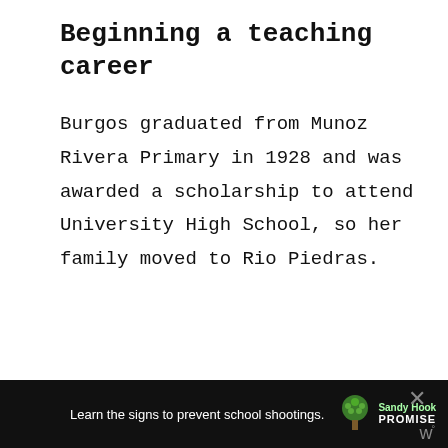Beginning a teaching career
Burgos graduated from Munoz Rivera Primary in 1928 and was awarded a scholarship to attend University High School, so her family moved to Rio Piedras.
[Figure (other): Social interaction sidebar with a teal heart/like button, a count of 7, and a share button]
[Figure (other): Advertisement banner: Learn the signs to prevent school shootings. Sandy Hook Promise logo with tree graphic. Close button visible.]